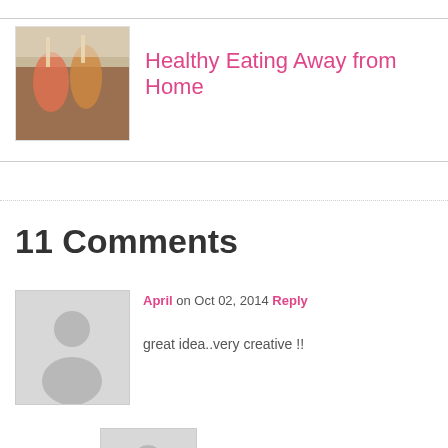[Figure (photo): Thumbnail image of drinks/beverages for blog post about Healthy Eating Away from Home]
Healthy Eating Away from Home
11 Comments
April on Oct 02, 2014 Reply
[Figure (photo): Gray default user avatar silhouette for commenter April]
great idea..very creative !!
[Figure (photo): Gray default user avatar silhouette for commenter Millie]
Millie on Aug 08, 2016 Reply
That's an apt answer to an ineietstri
[Figure (photo): Gray default user avatar silhouette for third commenter]